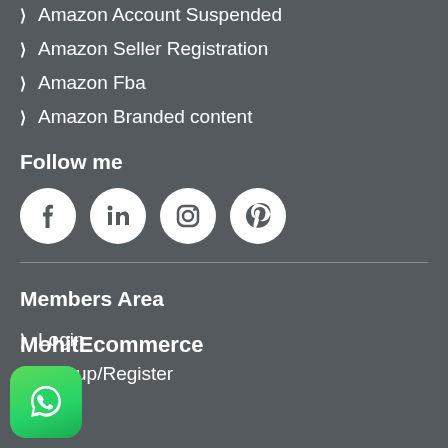Amazon Account Suspended
Amazon Seller Registration
Amazon Fba
Amazon Branded content
Follow me
[Figure (infographic): Four social media icons (Facebook, LinkedIn, Instagram, Pinterest) as white circles on dark background]
Members Area
Login
Signup/Register
MohitEcommerce
[Figure (logo): WhatsApp logo button — green rounded square with white phone handset icon]